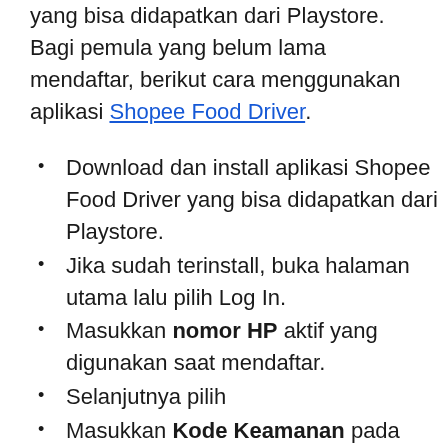yang bisa didapatkan dari Playstore. Bagi pemula yang belum lama mendaftar, berikut cara menggunakan aplikasi Shopee Food Driver.
Download dan install aplikasi Shopee Food Driver yang bisa didapatkan dari Playstore.
Jika sudah terinstall, buka halaman utama lalu pilih Log In.
Masukkan nomor HP aktif yang digunakan saat mendaftar.
Selanjutnya pilih
Masukkan Kode Keamanan pada kolom yang tertera.
Pilih
Jika kode keamanan tidak ditampilkan, silahkan muat ulang atau refresh